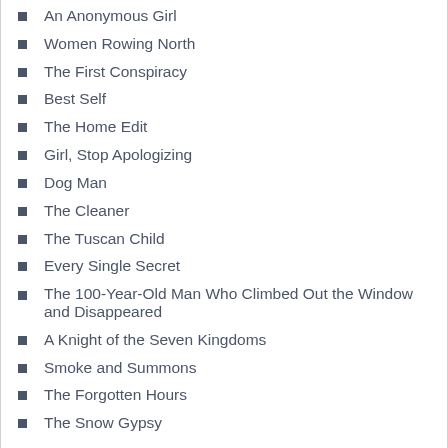An Anonymous Girl
Women Rowing North
The First Conspiracy
Best Self
The Home Edit
Girl, Stop Apologizing
Dog Man
The Cleaner
The Tuscan Child
Every Single Secret
The 100-Year-Old Man Who Climbed Out the Window and Disappeared
A Knight of the Seven Kingdoms
Smoke and Summons
The Forgotten Hours
The Snow Gypsy